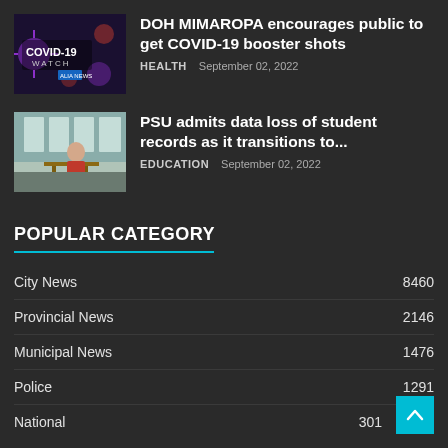[Figure (photo): COVID-19 Watch news thumbnail with dark background and COVID-19 virus imagery]
DOH MIMAROPA encourages public to get COVID-19 booster shots
HEALTH   September 02, 2022
[Figure (photo): PSU student in red shirt working at a standing desk in a room with large windows]
PSU admits data loss of student records as it transitions to...
EDUCATION   September 02, 2022
POPULAR CATEGORY
City News  8460
Provincial News  2146
Municipal News  1476
Police  1291
National  301
POLITICS & GOVERNANCE